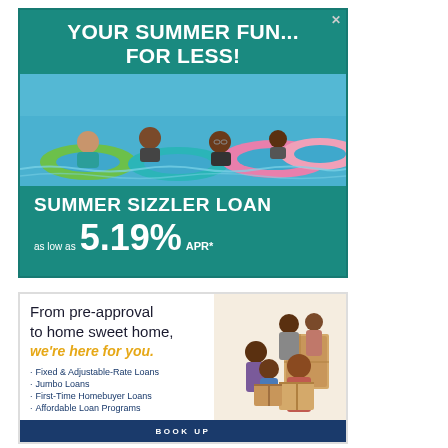[Figure (advertisement): Summer Sizzler Loan advertisement. Teal background. Headline: YOUR SUMMER FUN... FOR LESS! Photo of people floating on colorful inner tubes in a pool. Text: SUMMER SIZZLER LOAN as low as 5.19% APR*]
[Figure (advertisement): Home loan advertisement. White background. Text: From pre-approval to home sweet home, we're here for you. Bullet list: Fixed & Adjustable-Rate Loans, Jumbo Loans, First-Time Homebuyer Loans, Affordable Loan Programs. Photo of family with moving boxes. Dark blue footer bar.]